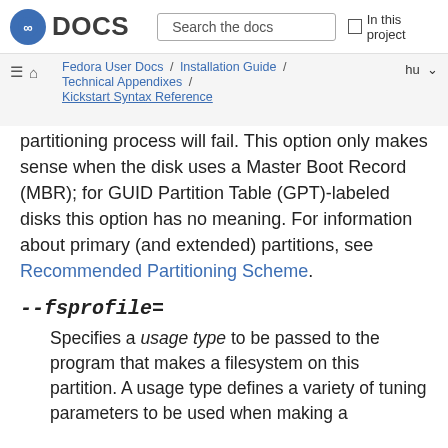DOCS | Search the docs | In this project
Fedora User Docs / Installation Guide / Technical Appendixes / Kickstart Syntax Reference | hu
partitioning process will fail. This option only makes sense when the disk uses a Master Boot Record (MBR); for GUID Partition Table (GPT)-labeled disks this option has no meaning. For information about primary (and extended) partitions, see Recommended Partitioning Scheme.
--fsprofile=
Specifies a usage type to be passed to the program that makes a filesystem on this partition. A usage type defines a variety of tuning parameters to be used when making a filesystem. For this option to work, the